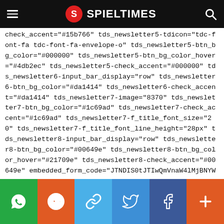SPIELTIMES
check_accent="#15b766" tds_newsletter5-tdicon="tdc-font-fa tdc-font-fa-envelope-o" tds_newsletter5-btn_bg_color="#000000" tds_newsletter5-btn_bg_color_hover="#4db2ec" tds_newsletter5-check_accent="#000000" tds_newsletter6-input_bar_display="row" tds_newsletter6-btn_bg_color="#da1414" tds_newsletter6-check_accent="#da1414" tds_newsletter7-image="8370" tds_newsletter7-btn_bg_color="#1c69ad" tds_newsletter7-check_accent="#1c69ad" tds_newsletter7-f_title_font_size="20" tds_newsletter7-f_title_font_line_height="28px" tds_newsletter8-input_bar_display="row" tds_newsletter8-btn_bg_color="#00649e" tds_newsletter8-btn_bg_color_hover="#21709e" tds_newsletter8-check_accent="#00649e" embedded_form_code="JTNDIS0tJTIwQmVnaW4lMjBNYWlsY2hpbXA content_align_horizontal="content-horiz-center"
[Figure (infographic): Social share bar with WhatsApp, Reddit, Link, Twitter, Facebook, and More buttons]